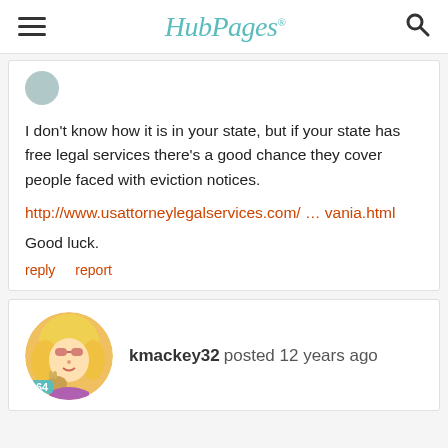HubPages
I don't know how it is in your state, but if your state has free legal services there's a good chance they cover people faced with eviction notices.
http://www.usattorneylegalservices.com/ … vania.html
Good luck.
reply   report
kmackey32 posted 12 years ago